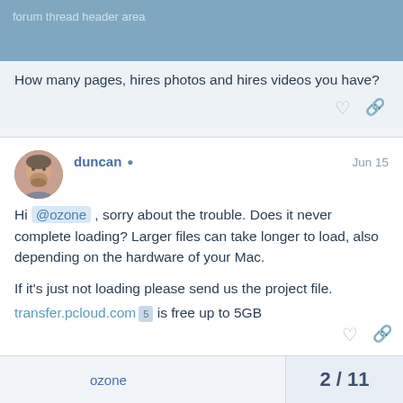forum discussion thread header
How many pages, hires photos and hires videos you have?
duncan Jun 15
Hi @ozone , sorry about the trouble. Does it never complete loading? Larger files can take longer to load, also depending on the hardware of your Mac.

If it's just not loading please send us the project file. transfer.pcloud.com 5 is free up to 5GB
ozone 2 / 11